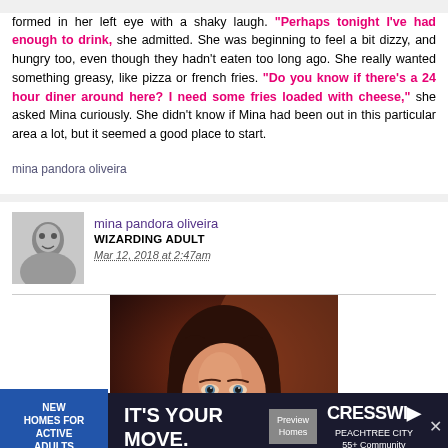formed in her left eye with a shaky laugh. "Perhaps tonight I've had enough to drink," she admitted. She was beginning to feel a bit dizzy, and hungry too, even though they hadn't eaten too long ago. She really wanted something greasy, like pizza or french fries. "Do you know if there's a 24 hour diner around here? I need some fries loaded with cheese," she asked Mina curiously. She didn't know if Mina had been out in this particular area a lot, but it seemed a good place to start.
mina pandora oliveira
mina pandora oliveira
WIZARDING ADULT
Mar 12, 2018 at 2:47am
[Figure (photo): Portrait photo of a young woman with long auburn/brown hair, freckles, and blue eyes, looking directly at the camera. Dark background suggesting an indoor setting.]
[Figure (infographic): Advertisement banner: blue section 'NEW HOMES FOR ACTIVE ADULTS', center says 'IT'S YOUR MOVE.' with 'Preview Homes' button, right side shows 'CRESSWI PEACHTREE CITY 55+ Community' logo]